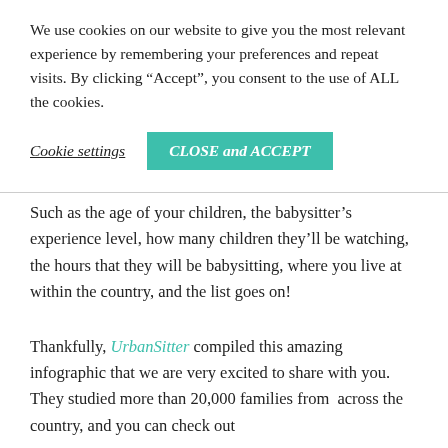We use cookies on our website to give you the most relevant experience by remembering your preferences and repeat visits. By clicking “Accept”, you consent to the use of ALL the cookies.
Cookie settings   CLOSE and ACCEPT
Such as the age of your children, the babysitter’s experience level, how many children they’ll be watching, the hours that they will be babysitting, where you live at within the country, and the list goes on!
Thankfully, UrbanSitter compiled this amazing infographic that we are very excited to share with you. They studied more than 20,000 families from across the country, and you can check out